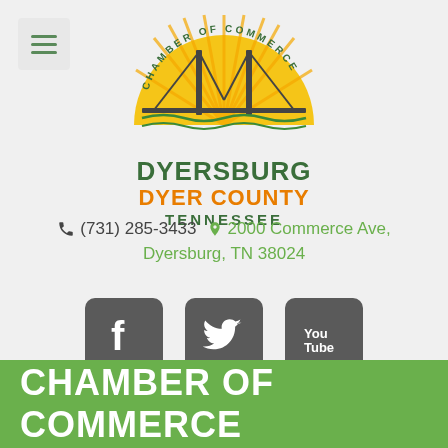[Figure (logo): Dyersburg Dyer County Tennessee Chamber of Commerce logo with bridge and sun graphic]
(731) 285-3433   2000 Commerce Ave, Dyersburg, TN 38024
[Figure (infographic): Social media icons: Facebook, Twitter, YouTube]
CHAMBER OF COMMERCE